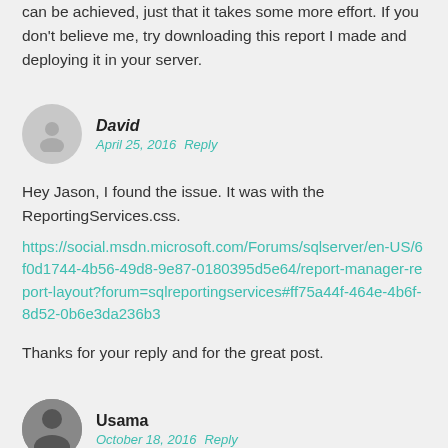can be achieved, just that it takes some more effort. If you don't believe me, try downloading this report I made and deploying it in your server.
David
April 25, 2016  Reply
Hey Jason, I found the issue. It was with the ReportingServices.css.
https://social.msdn.microsoft.com/Forums/sqlserver/en-US/6f0d1744-4b56-49d8-9e87-0180395d5e64/report-manager-report-layout?forum=sqlreportingservices#ff75a44f-464e-4b6f-8d52-0b6e3da236b3
Thanks for your reply and for the great post.
Usama
October 18, 2016  Reply
This is aswsome. Many thanks.